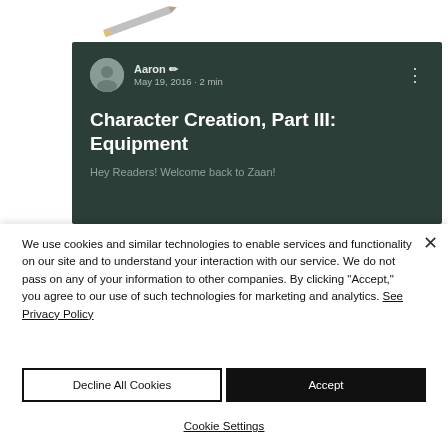[Figure (screenshot): Screenshot of a blog post card with dark teal background showing author Aaron, date May 19, 2016 · 2 min, and title 'Character Creation, Part III: Equipment' with partially visible preview text below]
We use cookies and similar technologies to enable services and functionality on our site and to understand your interaction with our service. We do not pass on any of your information to other companies. By clicking "Accept," you agree to our use of such technologies for marketing and analytics. See Privacy Policy
Decline All Cookies
Accept
Cookie Settings